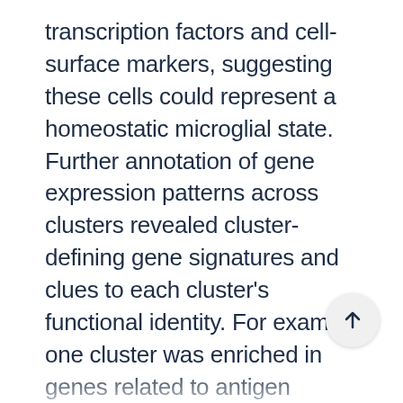transcription factors and cell-surface markers, suggesting these cells could represent a homeostatic microglial state. Further annotation of gene expression patterns across clusters revealed cluster-defining gene signatures and clues to each cluster's functional identity. For example, one cluster was enriched in genes related to antigen presentation; two clusters featured genes related to anti-inflammatory responses; another cluster was enriched in genes from the interferon response signaling pathway; and another cluster was enriched in genes associated with the cell cycle, suggesting it may represent a pool of proliferating microglial cells (4). Together, these gene expression insights reflect a microglial population struct that can be used as a benchmark and furthe refined as neuroscientists pool data from more samples, across regions, age time points, and